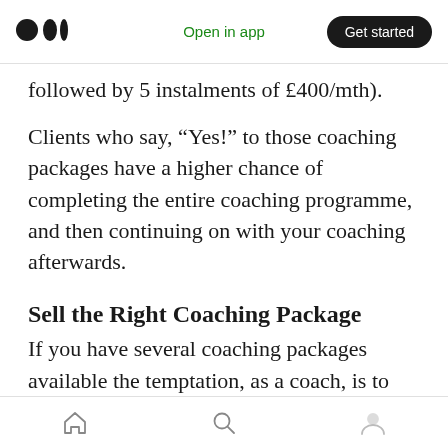Open in app | Get started
followed by 5 instalments of £400/mth).
Clients who say, “Yes!” to those coaching packages have a higher chance of completing the entire coaching programme, and then continuing on with your coaching afterwards.
Sell the Right Coaching Package
If you have several coaching packages available the temptation, as a coach, is to sell the client the cheapest one because there’s less friction involved (less at stake!) than the more expensive one, irrespective of whether it’s the right
Home | Search | Profile